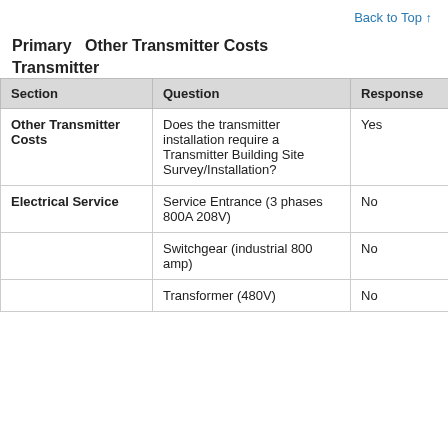Back to Top ↑
Primary Transmitter   Other Transmitter Costs
| Section | Question | Response |
| --- | --- | --- |
| Other Transmitter Costs | Does the transmitter installation require a Transmitter Building Site Survey/Installation? | Yes |
| Electrical Service | Service Entrance (3 phases 800A 208V) | No |
|  | Switchgear (industrial 800 amp) | No |
|  | Transformer (480V) | No |